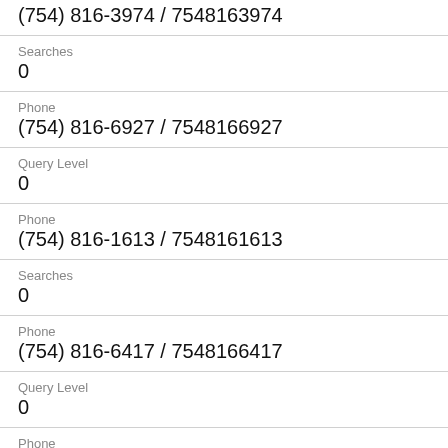(754) 816-3974 / 7548163974
Searches
0
Phone
(754) 816-6927 / 7548166927
Query Level
0
Phone
(754) 816-1613 / 7548161613
Searches
0
Phone
(754) 816-6417 / 7548166417
Query Level
0
Phone
(754) 816-9653 / 7548169653
Searches
1